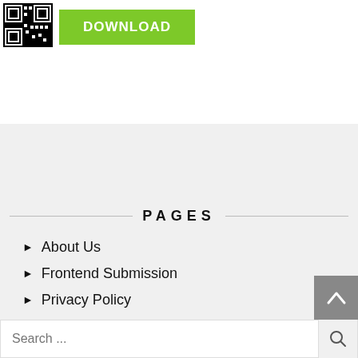[Figure (other): QR code image (pixelated black and white pattern)]
[Figure (other): Green DOWNLOAD button]
PAGES
About Us
Frontend Submission
Privacy Policy
Search ...